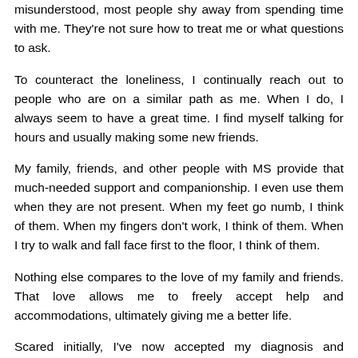misunderstood, most people shy away from spending time with me. They're not sure how to treat me or what questions to ask.
To counteract the loneliness, I continually reach out to people who are on a similar path as me. When I do, I always seem to have a great time. I find myself talking for hours and usually making some new friends.
My family, friends, and other people with MS provide that much-needed support and companionship. I even use them when they are not present. When my feet go numb, I think of them. When my fingers don't work, I think of them. When I try to walk and fall face first to the floor, I think of them.
Nothing else compares to the love of my family and friends. That love allows me to freely accept help and accommodations, ultimately giving me a better life.
Scared initially, I've now accepted my diagnosis and discovered how to incorporate MS into my life. I've learned to soldier ahead. Well, at least I try to. And as I look towards my future, I know there